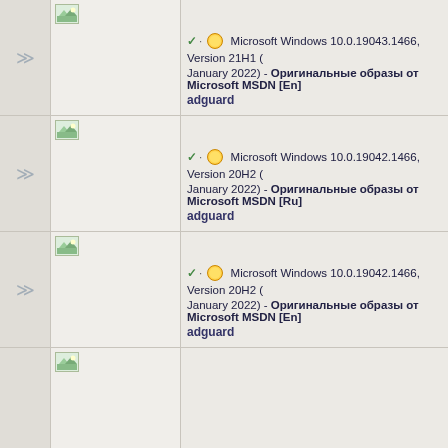✓ · ☀ Microsoft Windows 10.0.19043.1466, Version 21H1 (January 2022) - Оригинальные образы от Microsoft MSDN [En]
adguard
✓ · ☀ Microsoft Windows 10.0.19042.1466, Version 20H2 (January 2022) - Оригинальные образы от Microsoft MSDN [Ru]
adguard
✓ · ☀ Microsoft Windows 10.0.19042.1466, Version 20H2 (January 2022) - Оригинальные образы от Microsoft MSDN [En]
adguard
(partial row 4 visible)